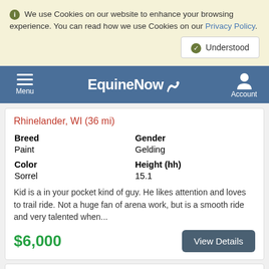We use Cookies on our website to enhance your browsing experience. You can read how we use Cookies on our Privacy Policy.
Understood
EquineNow — Menu | Account
Rhinelander, WI (36 mi)
| Breed | Gender |
| --- | --- |
| Paint | Gelding |
| Color | Height (hh) |
| --- | --- |
| Sorrel | 15.1 |
Kid is a in your pocket kind of guy. He likes attention and loves to trail ride. Not a huge fan of arena work, but is a smooth ride and very talented when...
$6,000
View Details
Presidential Diva